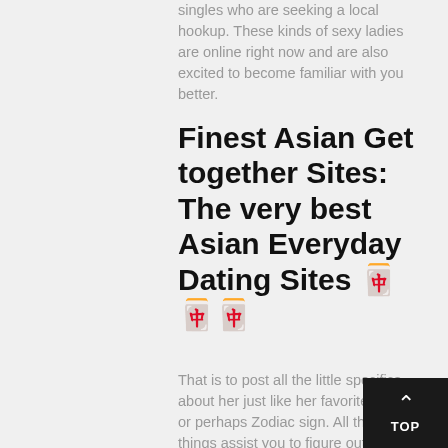singles who are seeking a local hookup. These kinds of sexy ladies are online right now and are also excited to become familiar with you better.
Finest Asian Get together Sites: The very best Asian Everyday Dating Sites 🀄🀄🀄
That is to post all the little specifics about her just like her favorite color or perhaps Zodiac sign. All these things assist you to figure out what you can get for her.